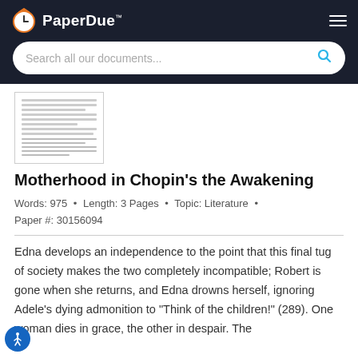PaperDue™
[Figure (screenshot): Search bar with placeholder text 'Search all our documents...' and a cyan search icon, on dark background header]
[Figure (other): Thumbnail preview of a document page with text lines]
Motherhood in Chopin's the Awakening
Words: 975 • Length: 3 Pages • Topic: Literature • Paper #: 30156094
Edna develops an independence to the point that this final tug of society makes the two completely incompatible; Robert is gone when she returns, and Edna drowns herself, ignoring Adele's dying admonition to "Think of the children!" (289). One woman dies in grace, the other in despair. The